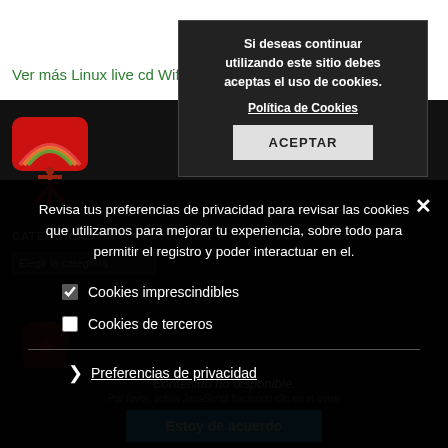Ver más Linux live cd Wifislax
[Figure (screenshot): Website background with dark theme, HWAGN logo (red/rainbow icon with antenna figure), CATEGORÍAS label, category dropdown selector]
Si deseas continuar utilizando este sitio debes aceptas el uso de cookies.
Política de Cookies
ACEPTAR
Revisa tus preferencias de privacidad para revisar las cookies que utilizamos para mejorar tu experiencia, sobre todo para permitir el registro y poder interactuar en el.
☑ Cookies imprescindibles
☐ Cookies de terceros
❯ Preferencias de privacidad
Contenido no disponible.
Por favor, activa JavaScript haciendo clic en el aviso
Estoy de acuerdo
ÚLTIMAS ENTRADAS